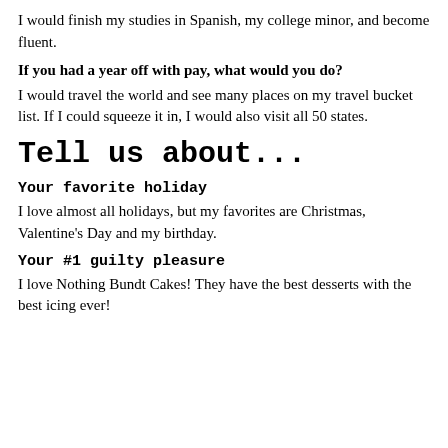I would finish my studies in Spanish, my college minor, and become fluent.
If you had a year off with pay, what would you do?
I would travel the world and see many places on my travel bucket list. If I could squeeze it in, I would also visit all 50 states.
Tell us about...
Your favorite holiday
I love almost all holidays, but my favorites are Christmas, Valentine's Day and my birthday.
Your #1 guilty pleasure
I love Nothing Bundt Cakes! They have the best desserts with the best icing ever!